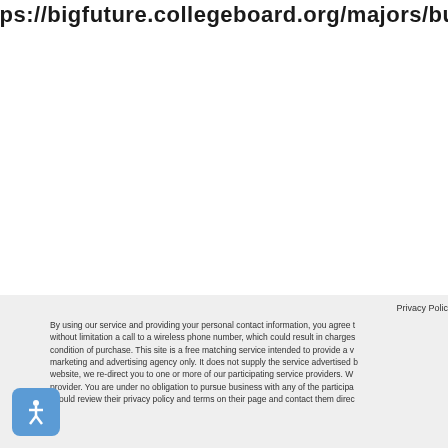https://bigfuture.collegeboard.org/majors/busines
Privacy Polic
By using our service and providing your personal contact information, you agree t without limitation a call to a wireless phone number, which could result in charges condition of purchase. This site is a free matching service intended to provide a v marketing and advertising agency only. It does not supply the service advertised b website, we re-direct you to one or more of our participating service providers. W provider. You are under no obligation to pursue business with any of the participa should review their privacy policy and terms on their page and contact them direc
[Figure (other): Accessibility icon - white wheelchair/person figure on blue rounded square background]